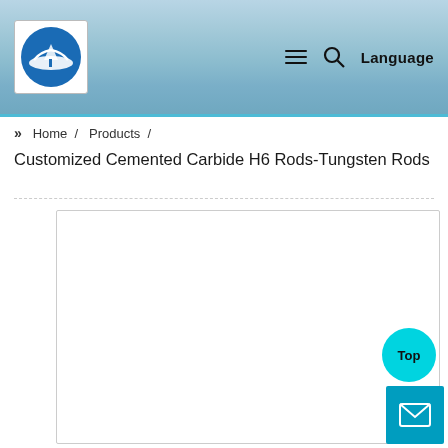Navigation header with logo, hamburger menu, search icon, and Language label
» Home / Products /
Customized Cemented Carbide H6 Rods-Tungsten Rods
[Figure (photo): Product image area — large white bordered rectangle for product photo display, currently blank/white]